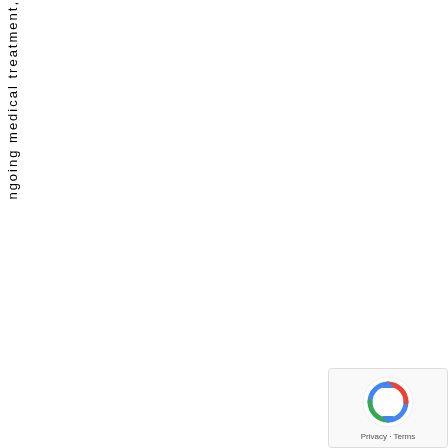ngoing medical treatment,
[Figure (other): reCAPTCHA privacy badge with Google logo, showing 'Privacy - Terms' text]